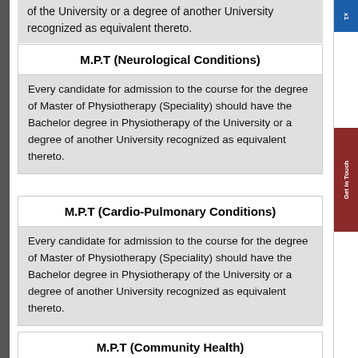of the University or a degree of another University recognized as equivalent thereto.
M.P.T (Neurological Conditions)
Every candidate for admission to the course for the degree of Master of Physiotherapy (Speciality) should have the Bachelor degree in Physiotherapy of the University or a degree of another University recognized as equivalent thereto.
M.P.T (Cardio-Pulmonary Conditions)
Every candidate for admission to the course for the degree of Master of Physiotherapy (Speciality) should have the Bachelor degree in Physiotherapy of the University or a degree of another University recognized as equivalent thereto.
M.P.T (Community Health)